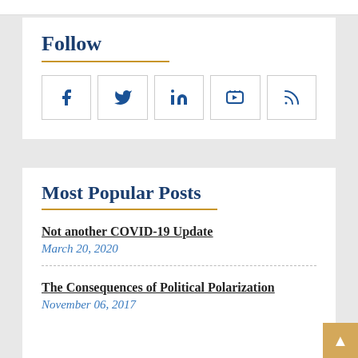Follow
[Figure (infographic): Social media icons: Facebook, Twitter, LinkedIn, YouTube, RSS feed - each in a bordered square box]
Most Popular Posts
Not another COVID-19 Update
March 20, 2020
The Consequences of Political Polarization
November 06, 2017